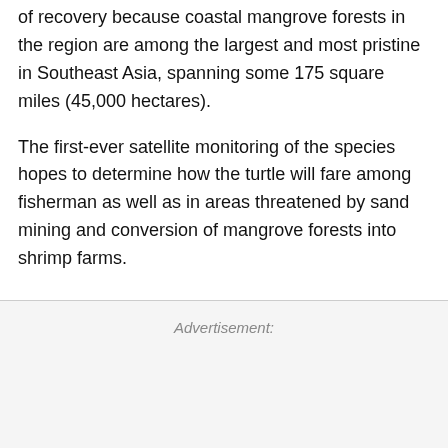of recovery because coastal mangrove forests in the region are among the largest and most pristine in Southeast Asia, spanning some 175 square miles (45,000 hectares).
The first-ever satellite monitoring of the species hopes to determine how the turtle will fare among fisherman as well as in areas threatened by sand mining and conversion of mangrove forests into shrimp farms.
Advertisement: